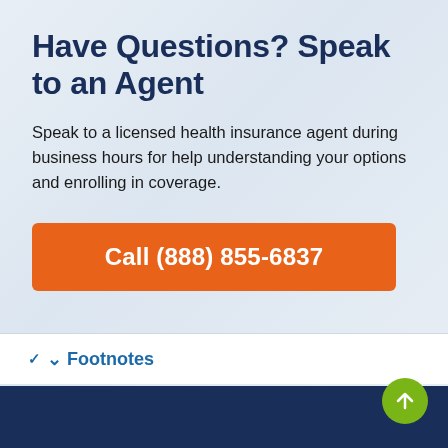Have Questions? Speak to an Agent
Speak to a licensed health insurance agent during business hours for help understanding your options and enrolling in coverage.
Call (888) 855-6837
Footnotes